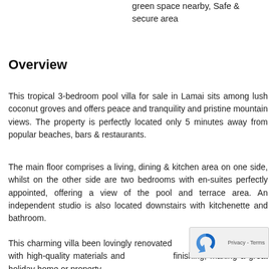green space nearby, Safe & secure area
Overview
This tropical 3-bedroom pool villa for sale in Lamai sits among lush coconut groves and offers peace and tranquility and pristine mountain views. The property is perfectly located only 5 minutes away from popular beaches, bars & restaurants.
The main floor comprises a living, dining & kitchen area on one side, whilst on the other side are two bedrooms with en-suites perfectly appointed, offering a view of the pool and terrace area. An independent studio is also located downstairs with kitchenette and bathroom.
This charming villa been lovingly renovated standard with high-quality materials and finishing, making a great holiday home or property